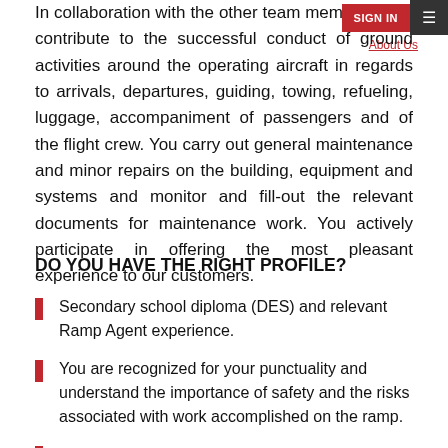SIGN IN  ≡  About Us
In collaboration with the other team members, you contribute to the successful conduct of ground activities around the operating aircraft in regards to arrivals, departures, guiding, towing, refueling, luggage, accompaniment of passengers and of the flight crew. You carry out general maintenance and minor repairs on the building, equipment and systems and monitor and fill-out the relevant documents for maintenance work. You actively participate in offering the most pleasant experience to our customers.
DO YOU HAVE THE RIGHT PROFILE?
Secondary school diploma (DES) and relevant Ramp Agent experience.
You are recognized for your punctuality and understand the importance of safety and the risks associated with work accomplished on the ramp.
You are motivated, enthusiastic and energetic and contribute...